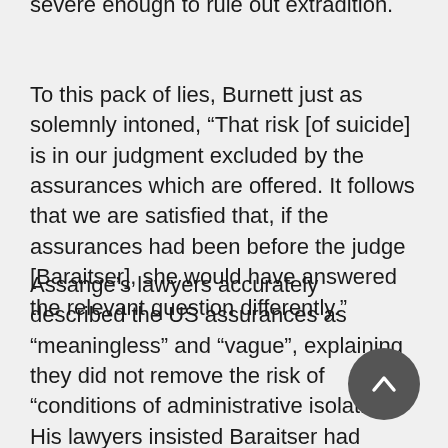severe enough to rule out extradition.
To this pack of lies, Burnett just as solemnly intoned, “That risk [of suicide] is in our judgment excluded by the assurances which are offered. It follows that we are satisfied that, if the assurances had been before the judge [Baraitser], she would have answered the relevant question differently.”
Assange’s lawyers accurately described the US assurances as “meaningless” and “vague”, explaining they did not remove the risk of “conditions of administrative isolation”. His lawyers insisted Baraitser had acted in accordance with expert medical evidence regarding Assange’s